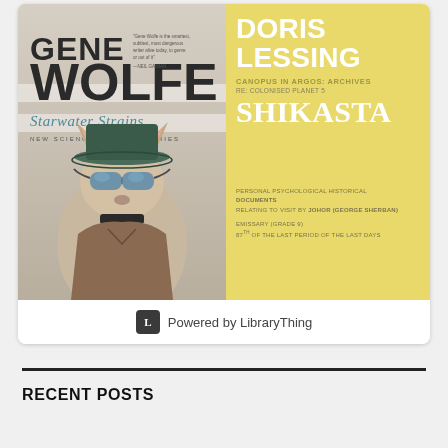[Figure (illustration): Widget box showing two book covers side by side. Left: Gene Wolfe 'Starwater Strains - New Science Fiction Stories' with a fox/badger-like animal wearing goggles and a hat. Right: Doris Lessing 'Canopus in Argos: Archives / Re: Colonised Planet 5 / Shikasta' with yellow background and white text. Below the books: 'Powered by LibraryThing' with logo.]
RECENT POSTS